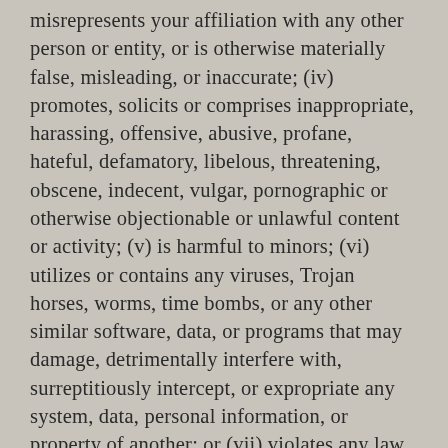misrepresents your affiliation with any other person or entity, or is otherwise materially false, misleading, or inaccurate; (iv) promotes, solicits or comprises inappropriate, harassing, offensive, abusive, profane, hateful, defamatory, libelous, threatening, obscene, indecent, vulgar, pornographic or otherwise objectionable or unlawful content or activity; (v) is harmful to minors; (vi) utilizes or contains any viruses, Trojan horses, worms, time bombs, or any other similar software, data, or programs that may damage, detrimentally interfere with, surreptitiously intercept, or expropriate any system, data, personal information, or property of another; or (vii) violates any law, statute, ordinance, or regulation (including without limitation the laws and regulations governing export control, unfair competition, anti-